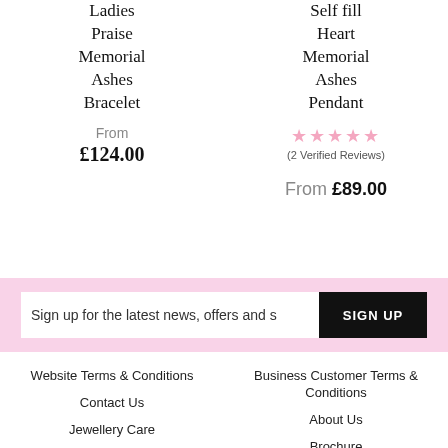Ladies Praise Memorial Ashes Bracelet
Self fill Heart Memorial Ashes Pendant
From £124.00
★★★★★ (2 Verified Reviews) From £89.00
Sign up for the latest news, offers and s
SIGN UP
Website Terms & Conditions
Business Customer Terms & Conditions
Contact Us
About Us
Jewellery Care
Brochure